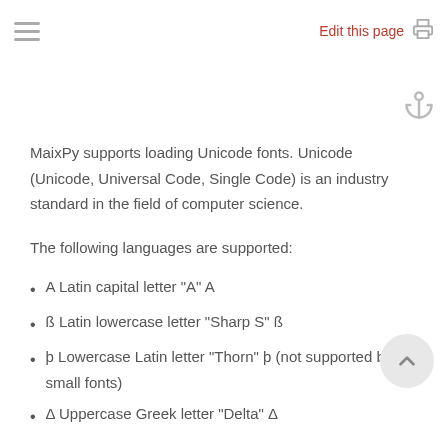Edit this page
MaixPy supports loading Unicode fonts. Unicode (Unicode, Universal Code, Single Code) is an industry standard in the field of computer science.
The following languages are supported:
A Latin capital letter "A" A
ß Latin lowercase letter "Sharp S" ß
þ Lowercase Latin letter "Thorn" þ (not supported by small fonts)
Δ Uppercase Greek letter "Delta" Δ